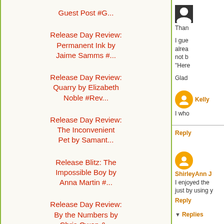Guest Post #G...
Release Day Review: Permanent Ink by Jaime Samms #...
Release Day Review: Quarry by Elizabeth Noble #Rev...
Release Day Review: The Inconvenient Pet by Samant...
Release Blitz: The Impossible Boy by Anna Martin #...
Release Day Review: By the Numbers by Chris Owen &...
Blog Tour: Finding Your Feet by Cass Lennox #Excer...
Release Day Review: Fire and Hail by Andrew Grey #...
Than
I gue already not b "Here
Glad
Kelly
I who
Reply
ShirleyAnn J
I enjoyed the just by using y
Reply
Replies